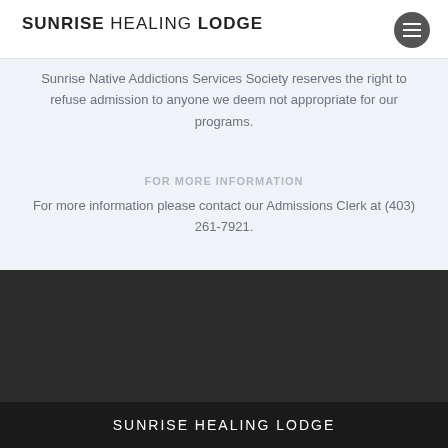SUNRISE HEALING LODGE
Sunrise Native Addictions Services Society reserves the right to refuse admission to anyone we deem not appropriate for our programs.
For more information
For more information please contact our Admissions Clerk at (403) 261-7921.
SUNRISE HEALING LODGE